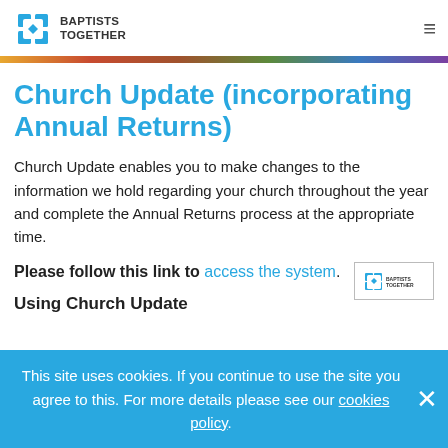BAPTISTS TOGETHER
Church Update (incorporating Annual Returns)
Church Update enables you to make changes to the information we hold regarding your church throughout the year and complete the Annual Returns process at the appropriate time.
Please follow this link to access the system.
Using Church Update
This site uses cookies. If you continue to use the site you agree to this. For more details please see our cookies policy.